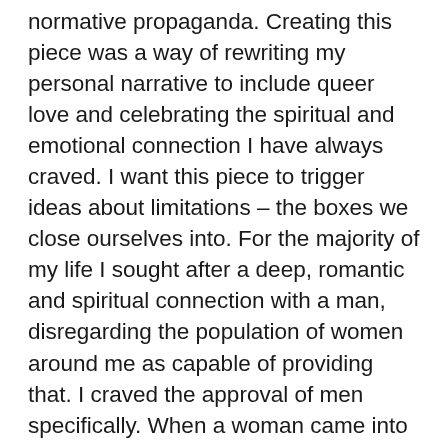normative propaganda. Creating this piece was a way of rewriting my personal narrative to include queer love and celebrating the spiritual and emotional connection I have always craved. I want this piece to trigger ideas about limitations – the boxes we close ourselves into. For the majority of my life I sought after a deep, romantic and spiritual connection with a man, disregarding the population of women around me as capable of providing that. I craved the approval of men specifically. When a woman came into my life and started providing the connection I longed for, I realized the need for a man's affection was a patriarchal device implanted into the media I had been consuming all my life. My piece is an attempt to combat